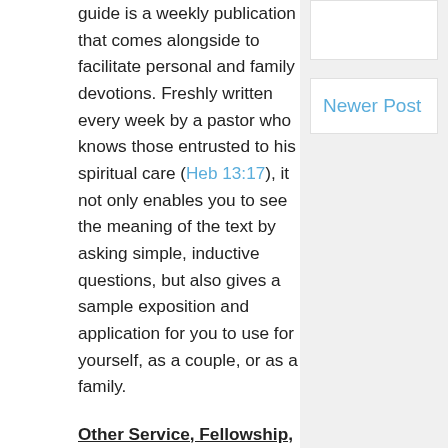guide is a weekly publication that comes alongside to facilitate personal and family devotions. Freshly written every week by a pastor who knows those entrusted to his spiritual care (Heb 13:17), it not only enables you to see the meaning of the text by asking simple, inductive questions, but also gives a sample exposition and application for you to use for yourself, as a couple, or as a family.
Other Service, Fellowship, and Worship Opportunities
The ministry of the Gospel at Hopewell focuses especially upon those church activities started and commanded by Christ Himself. While formalized/programmed events can be useful to get us going, our elders encourage us to take the initiative ourselves.
Some examples have included a ladies' book club, sidewalk ministry at Planned Parenthood of Nashville, and a ladies' fellowship tea put on by some of the youngest ladies in the congregation.
Newer Post